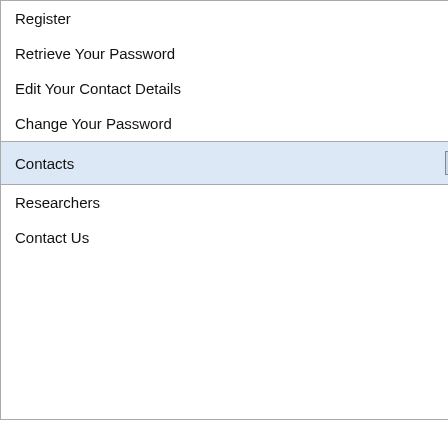Register
Retrieve Your Password
Edit Your Contact Details
Change Your Password
Contacts
Researchers
Contact Us
| Field | Value |
| --- | --- |
| Year | 1991 |
| Situation(s) | Rice... |
| Contributors - (Alphabetically) | Arlen... |
Edit
Arlen Klosterboer
Rice Belt of Texas
Edit this Note | Add New Note